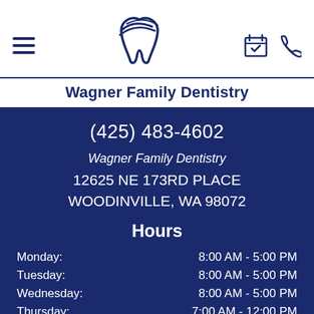[Figure (logo): Wagner Family Dentistry tooth/bird logo in dark navy blue]
Wagner Family Dentistry
(425) 483-4602
Wagner Family Dentistry
12625 NE 173RD PLACE
WOODINVILLE, WA 98072
Hours
Monday: 8:00 AM - 5:00 PM
Tuesday: 8:00 AM - 5:00 PM
Wednesday: 8:00 AM - 5:00 PM
Thursday: 7:00 AM - 12:00 PM
Thu...